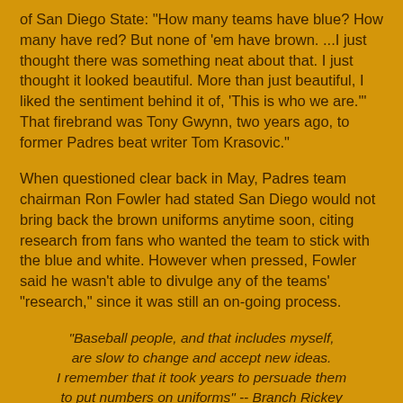of San Diego State: "How many teams have blue? How many have red? But none of 'em have brown. ...I just thought there was something neat about that. I just thought it looked beautiful. More than just beautiful, I liked the sentiment behind it of, 'This is who we are.'" That firebrand was Tony Gwynn, two years ago, to former Padres beat writer Tom Krasovic."
When questioned clear back in May, Padres team chairman Ron Fowler had stated San Diego would not bring back the brown uniforms anytime soon, citing research from fans who wanted the team to stick with the blue and white. However when pressed, Fowler said he wasn't able to divulge any of the teams' "research," since it was still an on-going process.
"Baseball people, and that includes myself, are slow to change and accept new ideas. I remember that it took years to persuade them to put numbers on uniforms" -- Branch Rickey
"Who in their infinite wisdom decreed that Little League uniforms be white?